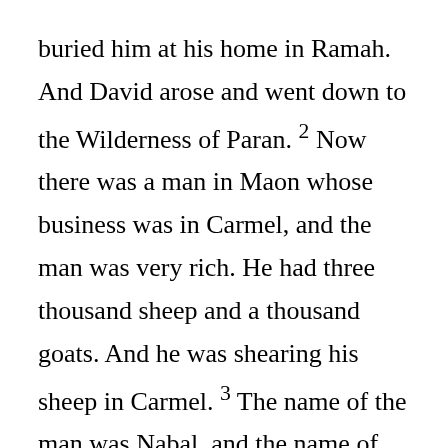buried him at his home in Ramah. And David arose and went down to the Wilderness of Paran. 2 Now there was a man in Maon whose business was in Carmel, and the man was very rich. He had three thousand sheep and a thousand goats. And he was shearing his sheep in Carmel. 3 The name of the man was Nabal, and the name of his wife Abigail. And she was a woman of good understanding and beautiful appearance; but the man was harsh and evil in his doings. He was of the house of